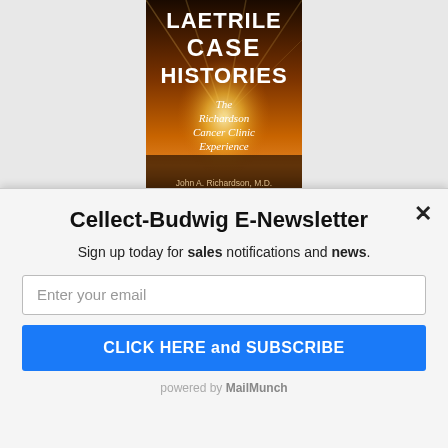[Figure (illustration): Book cover for 'Laetrile Case Histories: The Richardson Cancer Clinic Experience' by John A. Richardson, M.D. Dark orange/sunset background with bold white text.]
Cellect-Budwig E-Newsletter
Sign up today for sales notifications and news.
Enter your email
CLICK HERE and SUBSCRIBE
powered by MailMunch